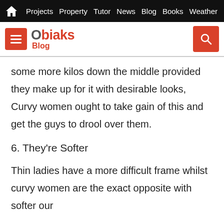Projects  Property  Tutor  News  Blog  Books  Weather
Obiaks Blog
some more kilos down the middle provided they make up for it with desirable looks, Curvy women ought to take gain of this and get the guys to drool over them.
6. They're Softer
Thin ladies have a more difficult frame whilst curvy women are the exact opposite with softer our